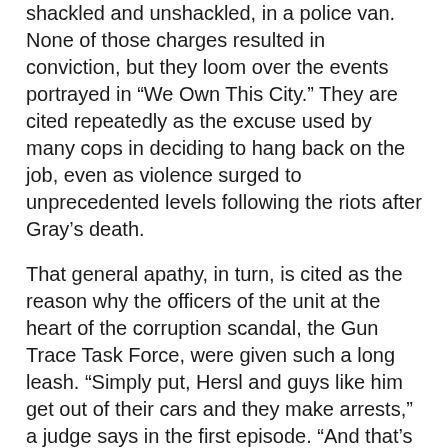shackled and unshackled, in a police van. None of those charges resulted in conviction, but they loom over the events portrayed in “We Own This City.” They are cited repeatedly as the excuse used by many cops in deciding to hang back on the job, even as violence surged to unprecedented levels following the riots after Gray’s death.
That general apathy, in turn, is cited as the reason why the officers of the unit at the heart of the corruption scandal, the Gun Trace Task Force, were given such a long leash. “Simply put, Hersl and guys like him get out of their cars and they make arrests,” a judge says in the first episode. “And that’s more than you can say about too many police in this city who are collecting a paycheck.” Or as Sgt. Wayne Jenkins, the head of the corrupt unit when it reached its apex of depravity — stealing hundreds of thousands of dollars, planting drugs and guns on suspects, filing wildly fraudulent overtime claims — puts it in the fourth episode: “As long as we produce, as long as we put those numbers up, they don’t fucking give a shit about what we do. We can do whatever the fuck we want.”
That aura of haplessness around the Police Department has